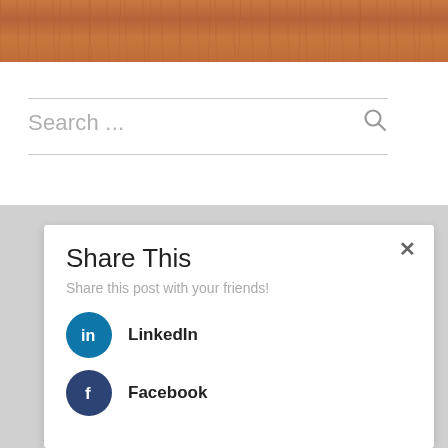[Figure (photo): Wood-textured banner image at the top of the page with warm brown tones]
Search ...
[Figure (screenshot): Share This modal dialog with LinkedIn and Facebook sharing options over a grey overlay background]
Share This
Share this post with your friends!
LinkedIn
Facebook